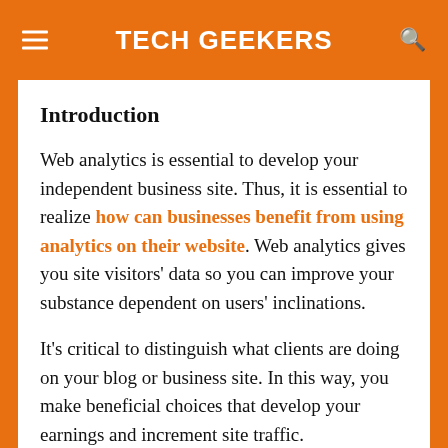TECH GEEKERS
Introduction
Web analytics is essential to develop your independent business site. Thus, it is essential to realize how can businesses benefit from using analytics on their website. Web analytics gives you site visitors' data so you can improve your substance dependent on users' inclinations.
It's critical to distinguish what clients are doing on your blog or business site. In this way, you make beneficial choices that develop your earnings and increment site traffic. Furthermore, site data analytics devices will